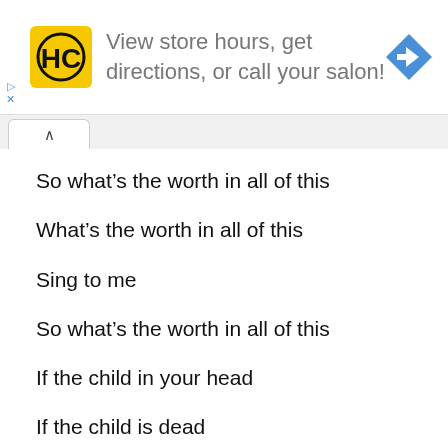[Figure (screenshot): Advertisement banner for a salon app/website with HC logo, text 'View store hours, get directions, or call your salon!', and a blue navigation arrow icon. Small play and close controls on the left side.]
So what's the worth in all of this
What's the worth in all of this
Sing to me
So what's the worth in all of this
If the child in your head
If the child is dead